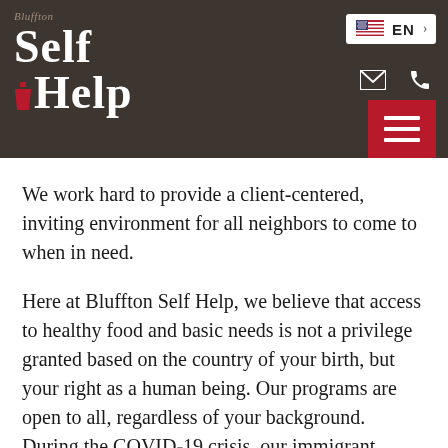Bluffton Self Help — website header with logo, EN language selector, email icon, phone icon, and hamburger menu
We work hard to provide a client-centered, inviting environment for all neighbors to come to when in need.
Here at Bluffton Self Help, we believe that access to healthy food and basic needs is not a privilege granted based on the country of your birth, but your right as a human being. Our programs are open to all, regardless of your background. During the COVID-19 crisis, our immigrant